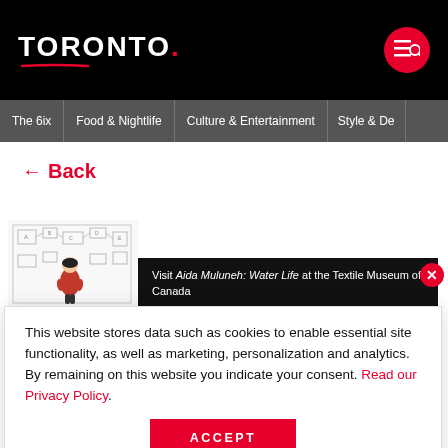TORONTO.
The 6ix | Food & Nightlife | Culture & Entertainment | Style & De
← Back
[Figure (illustration): Small illustration of a woman in red sitting among schematic diagrams]
Visit Aida Muluneh: Water Life at the Textile Museum of Canada
View Details ›
This website stores data such as cookies to enable essential site functionality, as well as marketing, personalization and analytics. By remaining on this website you indicate your consent. Read our Privacy Policy.
ACCEPT
Congratulations: You made the deal. The